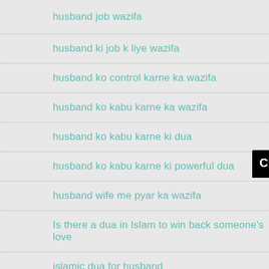husband job wazifa
husband ki job k liye wazifa
husband ko control karne ka wazifa
husband ko kabu karne ka wazifa
husband ko kabu karne ki dua
husband ko kabu karne ki powerful dua
husband wife me pyar ka wazifa
Is there a dua in Islam to win back someone's love
islamic dua for husband
islamic dua for husband health
[Figure (other): Black overlay banner with white bold text: Click to Consult on Whatsapp]